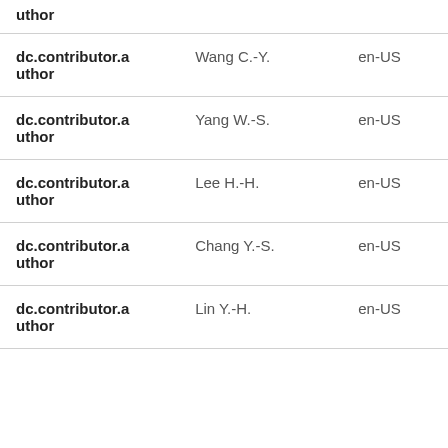| dc.contributor.author | Wang C.-Y. | en-US |
| dc.contributor.author | Yang W.-S. | en-US |
| dc.contributor.author | Lee H.-H. | en-US |
| dc.contributor.author | Chang Y.-S. | en-US |
| dc.contributor.author | Lin Y.-H. | en-US |